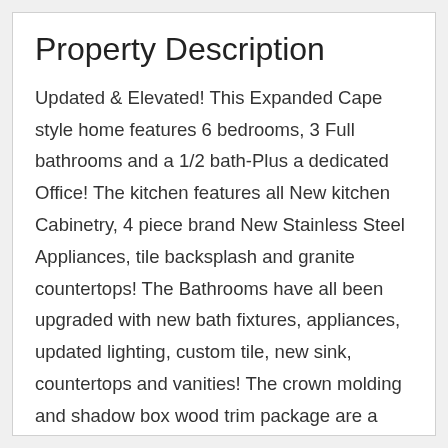Property Description
Updated & Elevated! This Expanded Cape style home features 6 bedrooms, 3 Full bathrooms and a 1/2 bath-Plus a dedicated Office! The kitchen features all New kitchen Cabinetry, 4 piece brand New Stainless Steel Appliances, tile backsplash and granite countertops! The Bathrooms have all been upgraded with new bath fixtures, appliances, updated lighting, custom tile, new sink, countertops and vanities! The crown molding and shadow box wood trim package are a Touch of Class! There is a Master En Suite. dedicated office, utility room, Beautiful fireplace with hearth and mantel, 2 first floor bedrooms, Cathedral